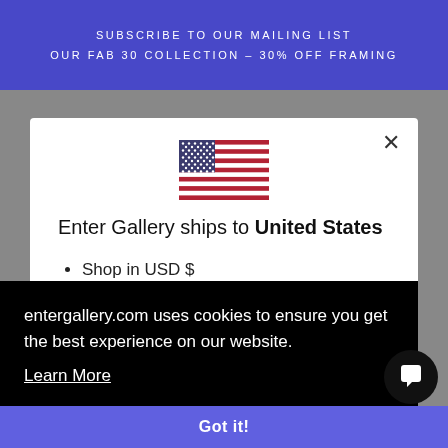SUBSCRIBE TO OUR MAILING LIST
OUR FAB 30 COLLECTION – 30% OFF FRAMING
[Figure (illustration): US flag emoji/illustration centered in modal]
Enter Gallery ships to United States
Shop in USD $
Get shipping options for United States
entergallery.com uses cookies to ensure you get the best experience on our website.
Learn More
Got it!
Job Vacancies